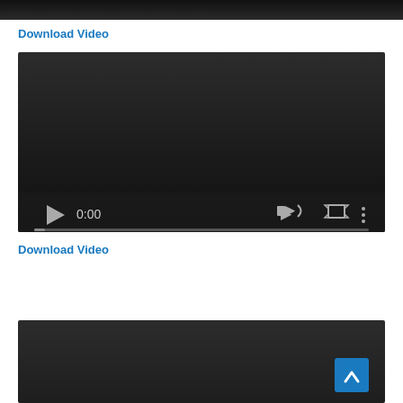[Figure (screenshot): Top portion of a dark video player thumbnail, cropped at the top edge]
Download Video
[Figure (screenshot): Video player with dark background, play button, timestamp 0:00, volume, fullscreen, and menu icons, with a progress bar at the bottom]
Download Video
[Figure (screenshot): Bottom portion of a dark video player, partially visible, with a blue back-to-top arrow button in the lower right]